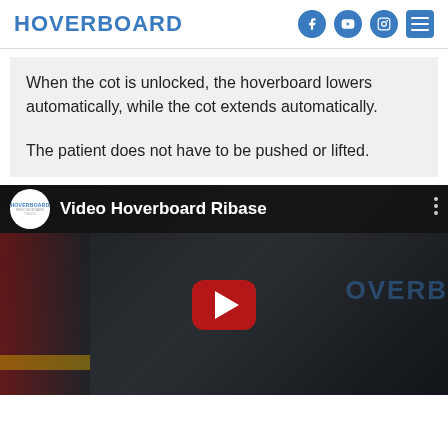HOVERBOARD
When the cot is unlocked, the hoverboard lowers automatically, while the cot extends automatically.

The patient does not have to be pushed or lifted.
[Figure (screenshot): Embedded YouTube video thumbnail showing 'Video Hoverboard Ribase' with a dark scene of an ambulance and a red play button in the center. The Hoverboard logo appears as a white circle on the left of the video title bar.]